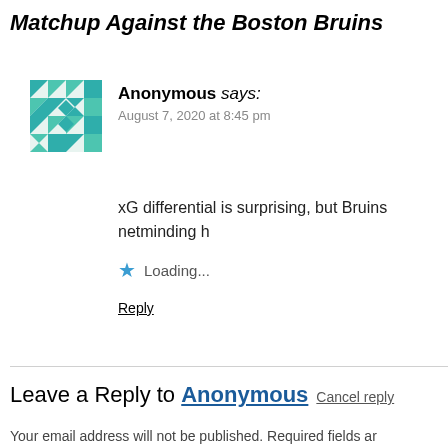Matchup Against the Boston Bruins
Anonymous says:
August 7, 2020 at 8:45 pm
xG differential is surprising, but Bruins netminding h
Loading...
Reply
Leave a Reply to Anonymous Cancel reply
Your email address will not be published. Required fields ar
Comment *